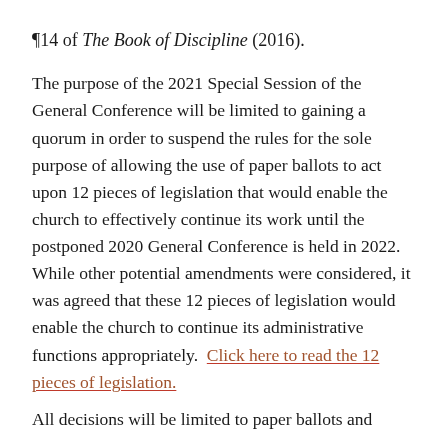¶14 of The Book of Discipline (2016).
The purpose of the 2021 Special Session of the General Conference will be limited to gaining a quorum in order to suspend the rules for the sole purpose of allowing the use of paper ballots to act upon 12 pieces of legislation that would enable the church to effectively continue its work until the postponed 2020 General Conference is held in 2022.  While other potential amendments were considered, it was agreed that these 12 pieces of legislation would enable the church to continue its administrative functions appropriately.  Click here to read the 12 pieces of legislation.
All decisions will be limited to paper ballots and